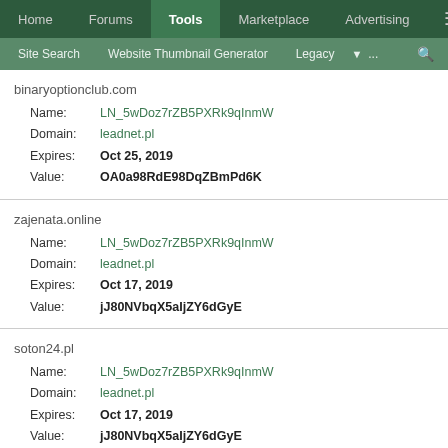Home | Forums | Tools | Marketplace | Advertising
Site Search | Website Thumbnail Generator | Legacy | ... | search
binaryoptionclub.com
Name: LN_5wDoz7rZB5PXRk9qInmW
Domain: leadnet.pl
Expires: Oct 25, 2019
Value: OA0a98RdE98DqZBmPd6K
zajenata.online
Name: LN_5wDoz7rZB5PXRk9qInmW
Domain: leadnet.pl
Expires: Oct 17, 2019
Value: jJ80NVbqX5aIjZY6dGyE
soton24.pl
Name: LN_5wDoz7rZB5PXRk9qInmW
Domain: leadnet.pl
Expires: Oct 17, 2019
Value: jJ80NVbqX5aIjZY6dGyE
xkcdref.info
Name: LN_5wDoz7rZB5PXRk9qInmW
Domain: leadnet.pl
Expires: Oct 17, 2019